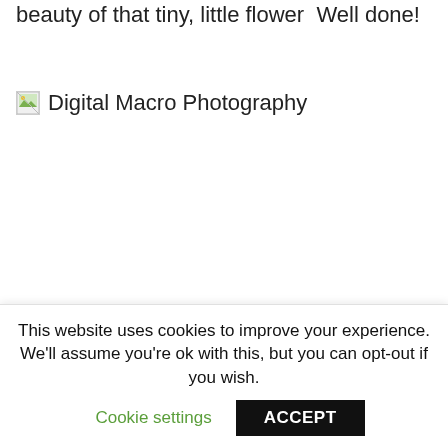beauty of that tiny, little flower  Well done!
[Figure (photo): Broken image placeholder with alt text 'Digital Macro Photography']
It may take you a while to get the hang of this process but once you do you will be hooked
This website uses cookies to improve your experience. We'll assume you're ok with this, but you can opt-out if you wish.
Cookie settings    ACCEPT